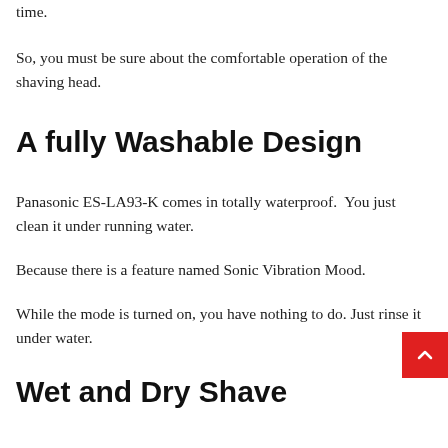time.
So, you must be sure about the comfortable operation of the shaving head.
A fully Washable Design
Panasonic ES-LA93-K comes in totally waterproof.  You just clean it under running water.
Because there is a feature named Sonic Vibration Mood.
While the mode is turned on, you have nothing to do. Just rinse it under water.
Wet and Dry Shave